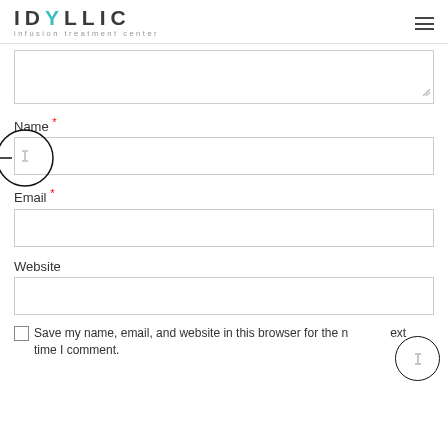IDYLLIC infusion treatment center
[Figure (screenshot): Textarea input box (partially visible, top portion cut off) with resize handle]
Name *
[Figure (screenshot): Text input field for Name with annotation circle and horizontal line]
Email *
[Figure (screenshot): Text input field for Email]
Website
[Figure (screenshot): Text input field for Website]
Save my name, email, and website in this browser for the next time I comment.